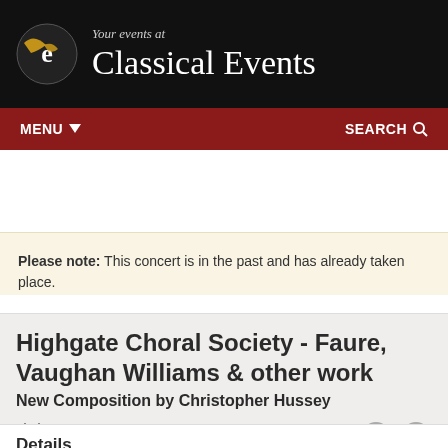[Figure (logo): Classical Events website header with horn logo, text 'Your events at Classical Events' on black background]
MENU ▾   SEARCH 🔍
Please note: This concert is in the past and has already taken place.
Highgate Choral Society - Faure, Vaughan Williams & other work
New Composition by Christopher Hussey
Add to my Calendar
Details